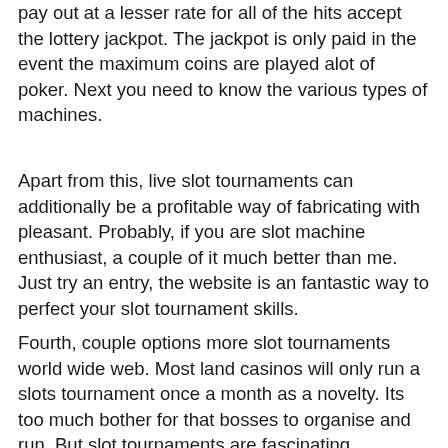pay out at a lesser rate for all of the hits accept the lottery jackpot. The jackpot is only paid in the event the maximum coins are played alot of poker. Next you need to know the various types of machines.
Apart from this, live slot tournaments can additionally be a profitable way of fabricating with pleasant. Probably, if you are slot machine enthusiast, a couple of it much better than me. Just try an entry, the website is an fantastic way to perfect your slot tournament skills.
Fourth, couple options more slot tournaments world wide web. Most land casinos will only run a slots tournament once a month as a novelty. Its too much bother for that bosses to organise and run. But slot tournaments are fascinating becoming increasingly more more recognized. Most good online casinos